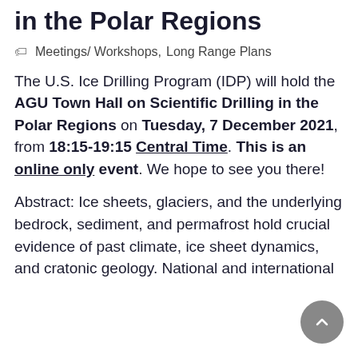AGU Town Hall on Scientific Drilling in the Polar Regions
Meetings/ Workshops,  Long Range Plans
The U.S. Ice Drilling Program (IDP) will hold the AGU Town Hall on Scientific Drilling in the Polar Regions on Tuesday, 7 December 2021, from 18:15-19:15 Central Time. This is an online only event. We hope to see you there!
Abstract: Ice sheets, glaciers, and the underlying bedrock, sediment, and permafrost hold crucial evidence of past climate, ice sheet dynamics, and cratonic geology. National and international